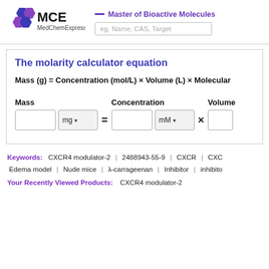— Master of Bioactive Molecules | eg. Name, CAS, Target
[Figure (logo): MedChemExpress (MCE) logo with hexagon flower icon and text MedChemExpress]
The molarity calculator equation
Mass | mg dropdown = Concentration | mM dropdown × Volume
Keywords: CXCR4 modulator-2 | 2488943-55-9 | CXCR | CXC | Edema model | Nude mice | λ-carrageenan | Inhibitor | inhibitor
Your Recently Viewed Products: CXCR4 modulator-2